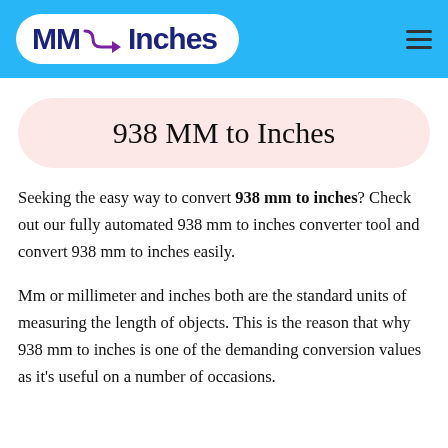MM → Inches
938 MM to Inches
Seeking the easy way to convert 938 mm to inches? Check out our fully automated 938 mm to inches converter tool and convert 938 mm to inches easily.
Mm or millimeter and inches both are the standard units of measuring the length of objects. This is the reason that why 938 mm to inches is one of the demanding conversion values as it's useful on a number of occasions.